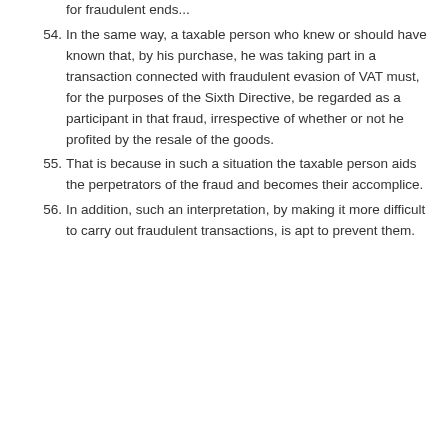for fraudulent ends...
54. In the same way, a taxable person who knew or should have known that, by his purchase, he was taking part in a transaction connected with fraudulent evasion of VAT must, for the purposes of the Sixth Directive, be regarded as a participant in that fraud, irrespective of whether or not he profited by the resale of the goods.
55. That is because in such a situation the taxable person aids the perpetrators of the fraud and becomes their accomplice.
56. In addition, such an interpretation, by making it more difficult to carry out fraudulent transactions, is apt to prevent them.